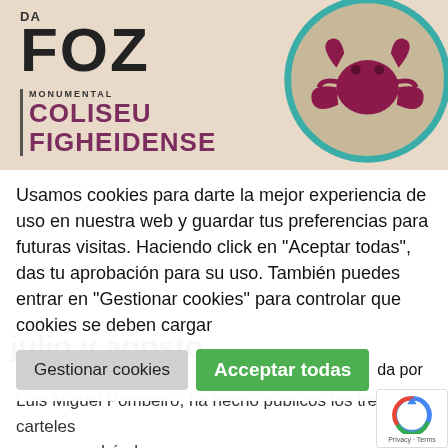[Figure (illustration): Magazine cover banner for 'DA FOZ' with text 'MONUMENTAL COLISEU FIGHEIDENSE' on a beige background with a circular image showing a crab-like figure on sand with teal border on the right.]
Usamos cookies para darte la mejor experiencia de uso en nuestra web y guardar tus preferencias para futuras visitas. Haciendo click en "Aceptar todas", das tu aprobación para su uso. También puedes entrar en "Gestionar cookies" para controlar que cookies se deben cargar
L ... da por Luis Miguel Pombeiro, ha hecho públicos los tres carteles que supondrán la...
julio y agosto
Leer más...
[Figure (logo): Google reCAPTCHA badge with Privacy - Terms text]